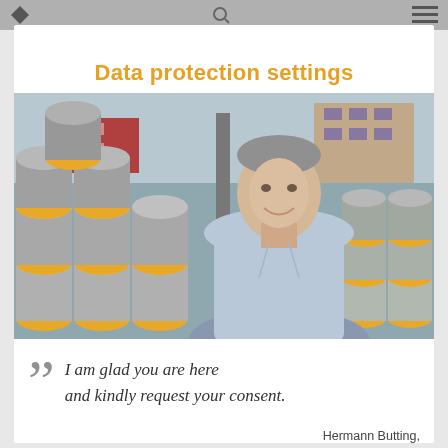Data protection settings
Data protection settings
[Figure (photo): A smiling middle-aged man with short grey hair wearing a light blue shirt, seated in front of stacks of large industrial pipes with yellow end caps at what appears to be an industrial facility.]
““ I am glad you are here and kindly request your consent.
Hermann Butting, President of BUTTING Group